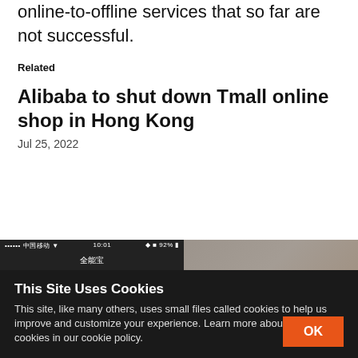online-to-offline services that so far are not successful.
Related
Alibaba to shut down Tmall online shop in Hong Kong
Jul 25, 2022
[Figure (screenshot): Partial screenshot of a mobile phone screen showing a Chinese app interface, alongside a blurred background image on the right.]
This Site Uses Cookies
This site, like many others, uses small files called cookies to help us improve and customize your experience. Learn more about how we use cookies in our cookie policy.